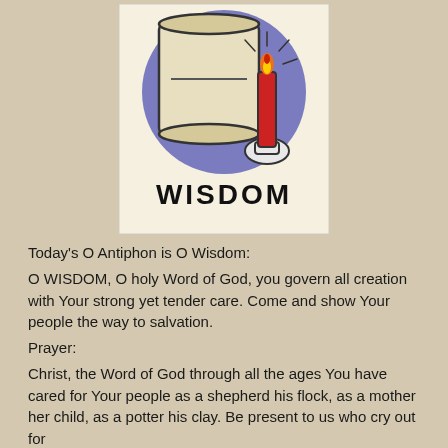[Figure (illustration): Illustration of a scroll and lit red candle on a purple circular background, with the word WISDOM written below in hand-drawn letters. The background of the image is off-white/cream.]
Today's O Antiphon is O Wisdom:
O WISDOM, O holy Word of God, you govern all creation with Your strong yet tender care. Come and show Your people the way to salvation.
Prayer:
Christ, the Word of God through all the ages You have cared for Your people as a shepherd his flock, as a mother her child, as a potter his clay. Be present to us who cry out for